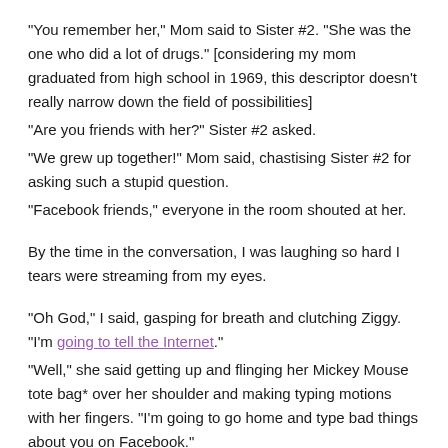"You remember her," Mom said to Sister #2. "She was the one who did a lot of drugs." [considering my mom graduated from high school in 1969, this descriptor doesn't really narrow down the field of possibilities]
"Are you friends with her?" Sister #2 asked.
"We grew up together!" Mom said, chastising Sister #2 for asking such a stupid question.
"Facebook friends," everyone in the room shouted at her.
By the time in the conversation, I was laughing so hard I tears were streaming from my eyes.
"Oh God," I said, gasping for breath and clutching Ziggy. "I'm going to tell the Internet."
"Well," she said getting up and flinging her Mickey Mouse tote bag* over her shoulder and making typing motions with her fingers. "I'm going to go home and type bad things about you on Facebook."
This, of course, caused much more uproarious laughter.